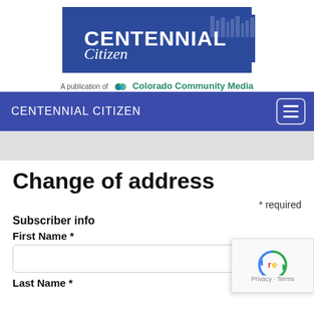[Figure (logo): Centennial Citizen newspaper logo on blue background with building graphic]
A publication of Colorado Community Media
CENTENNIAL CITIZEN
Change of address
* required
Subscriber info
First Name *
Last Name *